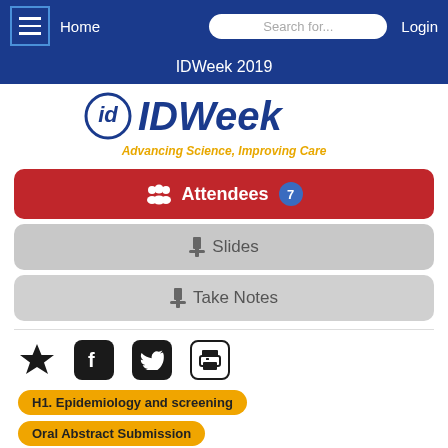Home | Search for... | Login
IDWeek 2019
[Figure (logo): IDWeek logo with tagline 'Advancing Science, Improving Care']
Attendees 7
Slides
Take Notes
H1. Epidemiology and screening
Oral Abstract Submission